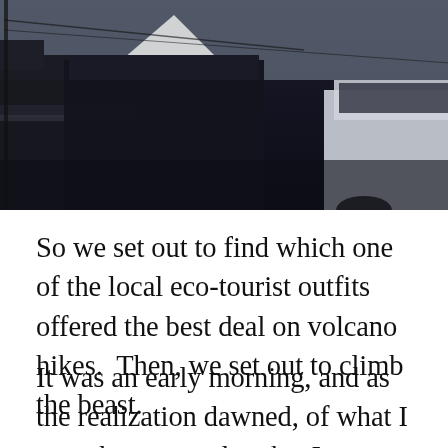[Figure (photo): A dark photograph showing a street scene with low-lit buildings, vehicles including a white pickup truck on the right, and a snow-capped volcano visible in the background center against a pale sky.]
So we set out to find which one of the local eco-tourist outfits offered the best deal on volcano hikes.  Then, we set out to climb the beast.
It was an early morning, and as the realization dawned, of what I was about to undertake, I was a bit